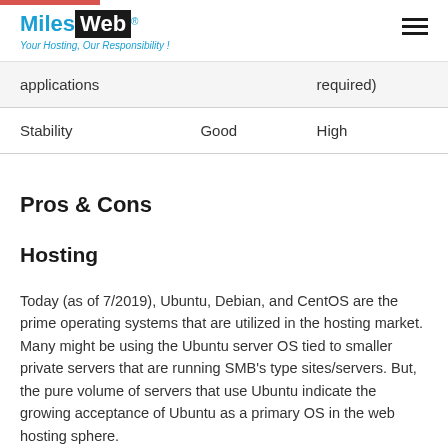MilesWeb - Your Hosting, Our Responsibility!
| applications |  | required) |
| Stability | Good | High |
Pros & Cons
Hosting
Today (as of 7/2019), Ubuntu, Debian, and CentOS are the prime operating systems that are utilized in the hosting market. Many might be using the Ubuntu server OS tied to smaller private servers that are running SMB’s type sites/servers. But, the pure volume of servers that use Ubuntu indicate the growing acceptance of Ubuntu as a primary OS in the web hosting sphere.